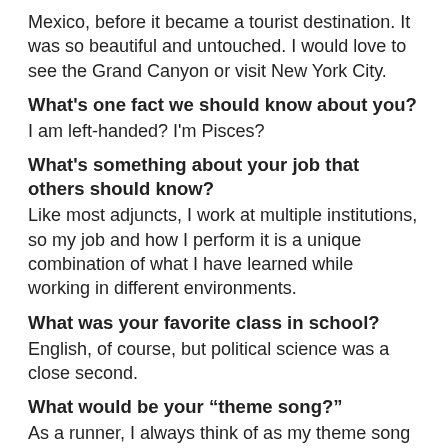Mexico, before it became a tourist destination. It was so beautiful and untouched. I would love to see the Grand Canyon or visit New York City.
What's one fact we should know about you?
I am left-handed? I'm Pisces?
What's something about your job that others should know?
Like most adjuncts, I work at multiple institutions, so my job and how I perform it is a unique combination of what I have learned while working in different environments.
What was your favorite class in school?
English, of course, but political science was a close second.
What would be your “theme song?”
As a runner, I always think of as my theme song is “Running on Empty” by Jackson Browne.
What quote best describes your philosophy?